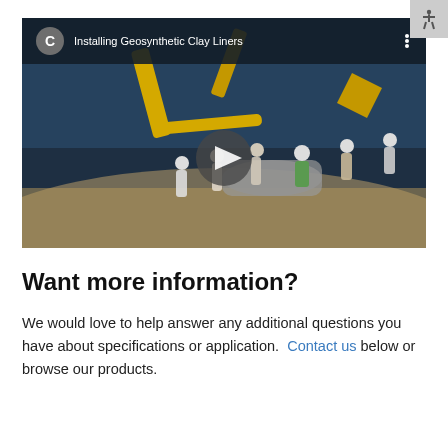[Figure (screenshot): YouTube-style video thumbnail showing workers installing geosynthetic clay liners with a yellow excavator/crane on a sandy slope. The video top bar shows a gray 'C' avatar, the title 'Installing Geosynthetic Clay Liners', and a three-dot menu. A play button is centered on the video.]
Want more information?
We would love to help answer any additional questions you have about specifications or application. Contact us below or browse our products.